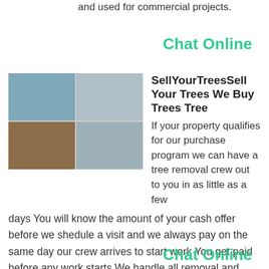and used for commercial projects.
Chat Online
[Figure (photo): Grid of four industrial/outdoor photos showing machinery, trees, and equipment]
SellYourTreesSell Your Trees We Buy Trees Tree
If your property qualifies for our purchase program we can have a tree removal crew out to you in as little as a few days You will know the amount of your cash offer before we shedule a visit and we always pay on the same day our crew arrives to start work You get paid before any work starts We handle all removal and cleanup.
Chat Online